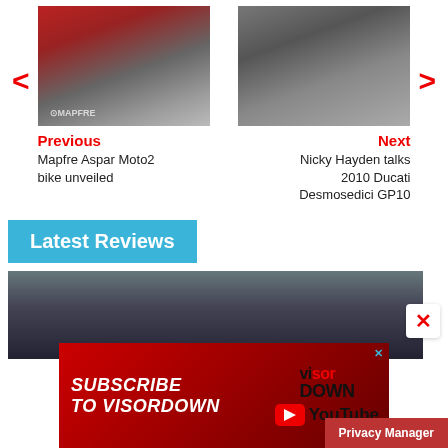[Figure (photo): Mapfre Aspar Moto2 bike unveiled event photo with red motorcycle and people in background]
Previous
Mapfre Aspar Moto2 bike unveiled
[Figure (photo): Nicky Hayden interview photo, man wearing sunglasses outdoors]
Next
Nicky Hayden talks 2010 Ducati Desmosedici GP10
Latest Reviews
[Figure (photo): Motorcycle review image showing a bike from behind on a road with vegetation]
[Figure (advertisement): Subscribe to Visordown YouTube channel advertisement banner with red background and Visordown logo]
Privacy Manager